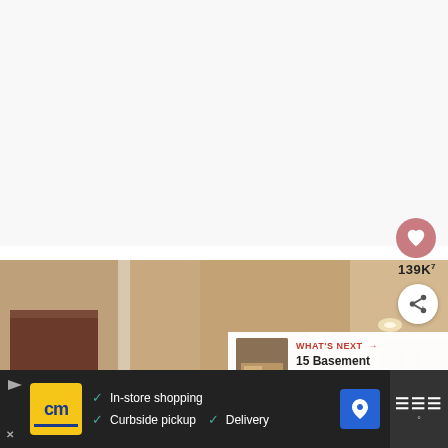[Figure (photo): White/light gray blank area at top of page, approximately half the page height]
[Figure (photo): Interior photo of a basement with warm beige/tan walls, white crown molding arches, recessed lighting, dark wood door, and staircase railing visible]
139K
WHAT'S NEXT → 15 Basement Decorating...
In-store shopping  Curbside pickup  Delivery